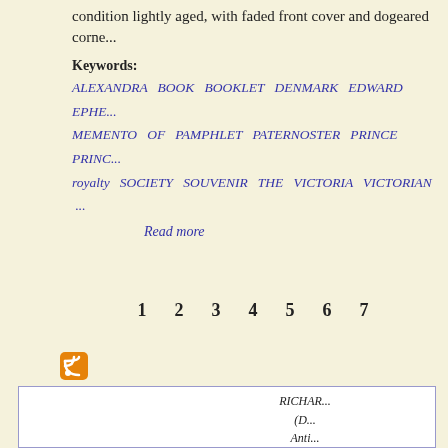condition lightly aged, with faded front cover and dogeared corne...
Keywords:
ALEXANDRA BOOK BOOKLET DENMARK EDWARD EPHE... MEMENTO OF PAMPHLET PATERNOSTER PRINCE PRINC... royalty SOCIETY SOUVENIR THE VICTORIA VICTORIAN ...
Read more
1 2 3 4 5 6 7
[Figure (other): RSS feed icon (orange square with white WiFi-style signal symbol)]
RICHARD... (D... Anti... 70... L... Te... e-mail: rich... VAT ...